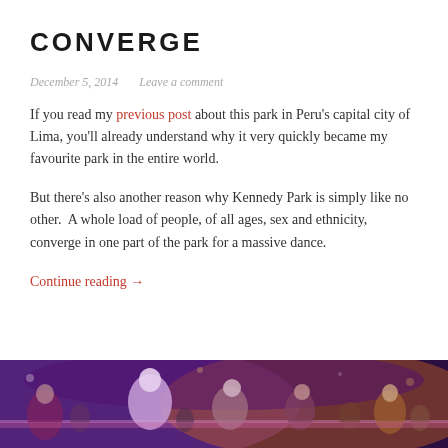CONVERGE
December 5, 2014   Leave a comment
If you read my previous post about this park in Peru's capital city of Lima, you'll already understand why it very quickly became my favourite park in the entire world.
But there's also another reason why Kennedy Park is simply like no other.  A whole load of people, of all ages, sex and ethnicity, converge in one part of the park for a massive dance.
Continue reading →
[Figure (photo): A nighttime photo of people dancing at a park, with purple/pink lighting and a crowd visible in the background.]